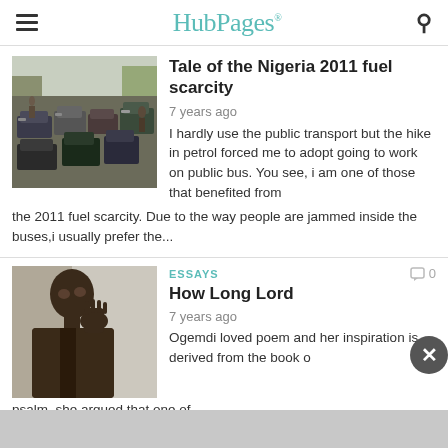HubPages
Tale of the Nigeria 2011 fuel scarcity
7 years ago
I hardly use the public transport but the hike in petrol forced me to adopt going to work on public bus. You see, i am one of those that benefited from the 2011 fuel scarcity. Due to the way people are jammed inside the buses,i usually prefer the...
ESSAYS
How Long Lord
7 years ago
Ogemdi loved poem and her inspiration is derived from the book of psalm, she argued that one of